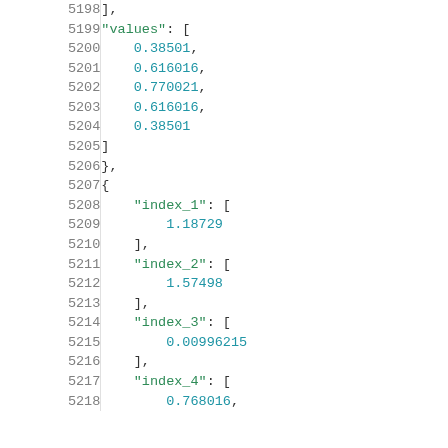Code listing lines 5198-5218 showing JSON data with values array and index fields (index_1 through index_4) with numeric values: 0.38501, 0.616016, 0.770021, 0.616016, 0.38501, 1.18729, 1.57498, 0.00996215, 0.768016